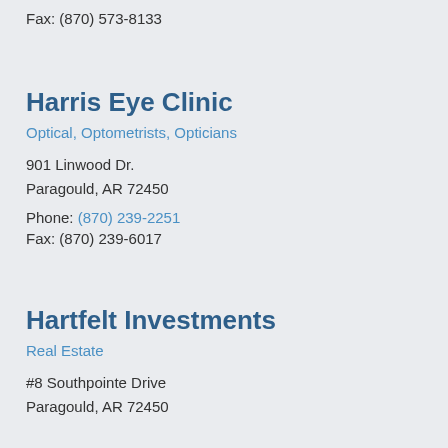Fax: (870) 573-8133
Harris Eye Clinic
Optical, Optometrists, Opticians
901 Linwood Dr.
Paragould, AR 72450
Phone: (870) 239-2251
Fax: (870) 239-6017
Hartfelt Investments
Real Estate
#8 Southpointe Drive
Paragould, AR 72450